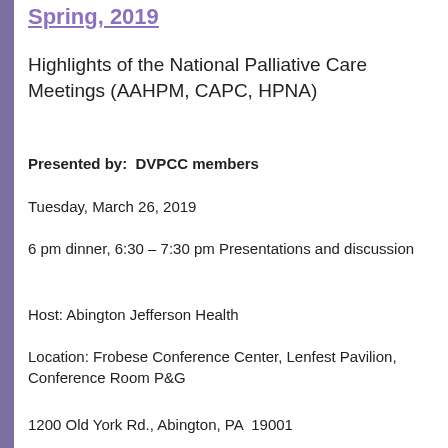Spring, 2019
Highlights of the National Palliative Care Meetings (AAHPM, CAPC, HPNA)
Presented by:  DVPCC members
Tuesday, March 26, 2019
6 pm dinner, 6:30 – 7:30 pm Presentations and discussion
Host: Abington Jefferson Health
Location: Frobese Conference Center, Lenfest Pavilion, Conference Room P&G
1200 Old York Rd., Abington, PA  19001